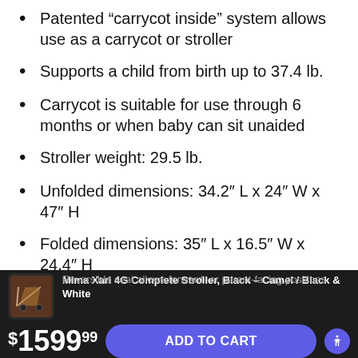Patented “carrycot inside” system allows use as a carrycot or stroller
Supports a child from birth up to 37.4 lb.
Carrycot is suitable for use through 6 months or when baby can sit unaided
Stroller weight: 29.5 lb.
Unfolded dimensions: 34.2″ L x 24″ W x 47″ H
Folded dimensions: 35″ L x 16.5″ W x 24.4″ H
Mima Xari 4G Complete Stroller, Black – Camel / Black & White | $1599.99 | ADD TO CART